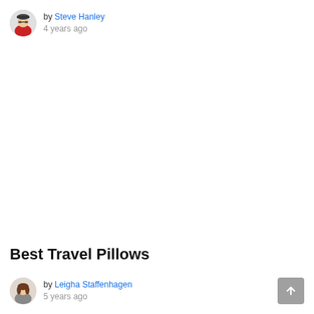by Steve Hanley
4 years ago
Best Travel Pillows
by Leigha Staffenhagen
5 years ago